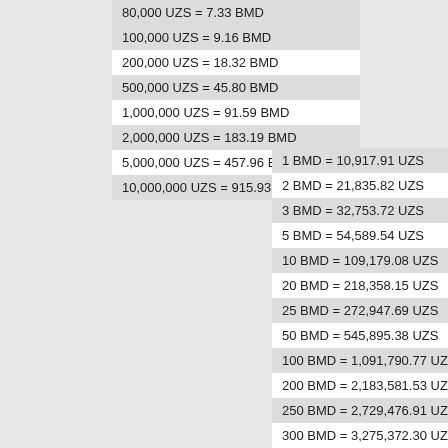| 80,000 UZS = 7.33 BMD |
| 100,000 UZS = 9.16 BMD |
| 200,000 UZS = 18.32 BMD |
| 500,000 UZS = 45.80 BMD |
| 1,000,000 UZS = 91.59 BMD |
| 2,000,000 UZS = 183.19 BMD |
| 5,000,000 UZS = 457.96 BMD |
| 10,000,000 UZS = 915.93 BMD |
| 1 BMD = 10,917.91 UZS |
| 2 BMD = 21,835.82 UZS |
| 3 BMD = 32,753.72 UZS |
| 5 BMD = 54,589.54 UZS |
| 10 BMD = 109,179.08 UZS |
| 20 BMD = 218,358.15 UZS |
| 25 BMD = 272,947.69 UZS |
| 50 BMD = 545,895.38 UZS |
| 100 BMD = 1,091,790.77 UZS |
| 200 BMD = 2,183,581.53 UZS |
| 250 BMD = 2,729,476.91 UZS |
| 300 BMD = 3,275,372.30 UZS |
| 500 BMD = 5,458,953.83 UZS |
| 600 BMD = 6,550,744.59 UZS |
| 1,000 BMD = 10,917,907.65 UZS |